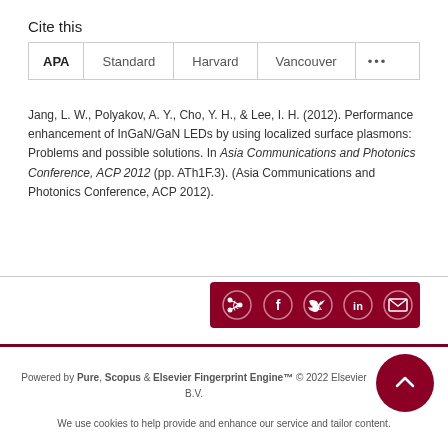Cite this
APA | Standard | Harvard | Vancouver | ...
Jang, L. W., Polyakov, A. Y., Cho, Y. H., & Lee, I. H. (2012). Performance enhancement of InGaN/GaN LEDs by using localized surface plasmons: Problems and possible solutions. In Asia Communications and Photonics Conference, ACP 2012 (pp. ATh1F.3). (Asia Communications and Photonics Conference, ACP 2012).
[Figure (infographic): Share bar with social media icons (share, Facebook, Twitter, LinkedIn, email) on dark red background]
Powered by Pure, Scopus & Elsevier Fingerprint Engine™ © 2022 Elsevier B.V.
We use cookies to help provide and enhance our service and tailor content.